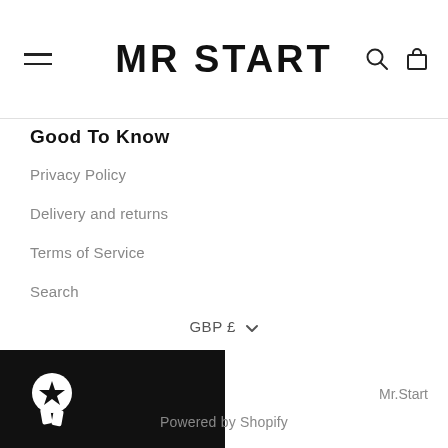MR START
Good To Know
Privacy Policy
Delivery and returns
Terms of Service
Search
FAQs
GBP £
Mr.Start
Powered by Shopify